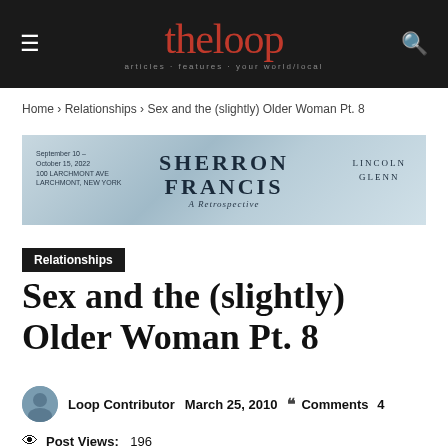theloop
Home › Relationships › Sex and the (slightly) Older Woman Pt. 8
[Figure (illustration): Advertisement banner for Sherron Francis A Retrospective, September 10 - October 15, 2022, 100 Larchmont Ave, Larchmont, New York, with Lincoln Glenn]
Relationships
Sex and the (slightly) Older Woman Pt. 8
Loop Contributor   March 25, 2010   Comments 4
Post Views: 196